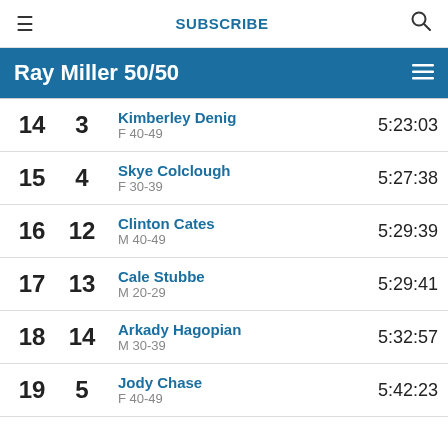≡  SUBSCRIBE  🔍
Ray Miller 50/50
| Overall | Gender | Name / Category | Time |
| --- | --- | --- | --- |
| 14 | 3 | Kimberley Denig
F 40-49 | 5:23:03 |
| 15 | 4 | Skye Colclough
F 30-39 | 5:27:38 |
| 16 | 12 | Clinton Cates
M 40-49 | 5:29:39 |
| 17 | 13 | Cale Stubbe
M 20-29 | 5:29:41 |
| 18 | 14 | Arkady Hagopian
M 30-39 | 5:32:57 |
| 19 | 5 | Jody Chase
F 40-49 | 5:42:23 |